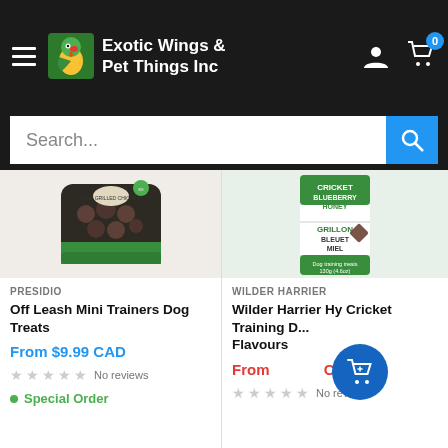Exotic Wings & Pet Things Inc
Search...
[Figure (screenshot): Product image: bag of Presidio Off Leash Mini Trainers Dog Treats]
PRESIDIO
Off Leash Mini Trainers Dog Treats
From $9.99 CAD
No reviews
Special Order
[Figure (screenshot): Product image: tube of Wilder Harrier Hy Cricket Training Dog Treats, Blueberry Honey / Grillon Bleuet Miel flavour]
WILDER HARRIER
Wilder Harrier Hy Cricket Training D... Flavours
From ... CAD
No rev...